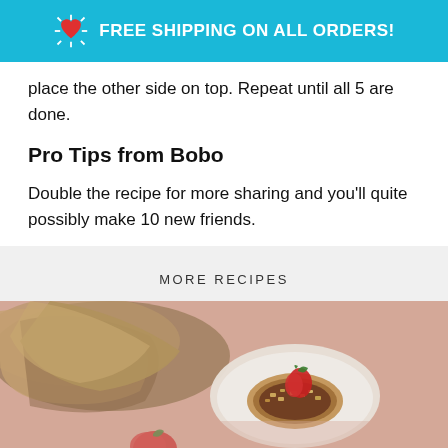FREE SHIPPING ON ALL ORDERS!
place the other side on top. Repeat until all 5 are done.
Pro Tips from Bobo
Double the recipe for more sharing and you'll quite possibly make 10 new friends.
MORE RECIPES
[Figure (photo): Food photo showing a chocolate tart topped with chopped nuts and a fresh strawberry on a plate, with folded flatbreads in the background and a strawberry in the foreground, on a pink surface.]